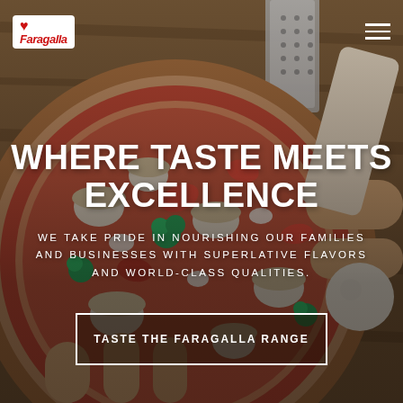[Figure (photo): Hero background photo showing hands assembling a pizza with mushrooms, tomatoes, broccoli and other toppings on a wooden table with kitchen utensils]
Faragalla logo and hamburger menu
WHERE TASTE MEETS EXCELLENCE
WE TAKE PRIDE IN NOURISHING OUR FAMILIES AND BUSINESSES WITH SUPERLATIVE FLAVORS AND WORLD-CLASS QUALITIES.
TASTE THE FARAGALLA RANGE